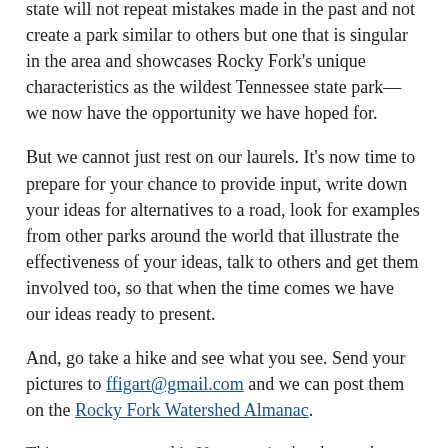state will not repeat mistakes made in the past and not create a park similar to others but one that is singular in the area and showcases Rocky Fork's unique characteristics as the wildest Tennessee state park—we now have the opportunity we have hoped for.
But we cannot just rest on our laurels. It's now time to prepare for your chance to provide input, write down your ideas for alternatives to a road, look for examples from other parks around the world that illustrate the effectiveness of your ideas, talk to others and get them involved too, so that when the time comes we have our ideas ready to present.
And, go take a hike and see what you see. Send your pictures to ffigart@gmail.com and we can post them on the Rocky Fork Watershed Almanac.
This entry was posted in Uncategorized and tagged Lamar Alexander Rocky Fork State Park, Rocky Fork, Rocky Fork Journal,